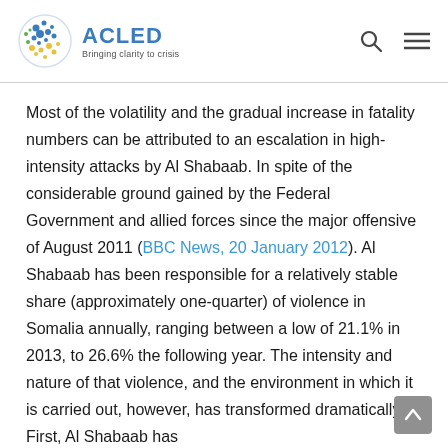ACLED — Bringing clarity to crisis
Most of the volatility and the gradual increase in fatality numbers can be attributed to an escalation in high-intensity attacks by Al Shabaab. In spite of the considerable ground gained by the Federal Government and allied forces since the major offensive of August 2011 (BBC News, 20 January 2012). Al Shabaab has been responsible for a relatively stable share (approximately one-quarter) of violence in Somalia annually, ranging between a low of 21.1% in 2013, to 26.6% the following year. The intensity and nature of that violence, and the environment in which it is carried out, however, has transformed dramatically. First, Al Shabaab has